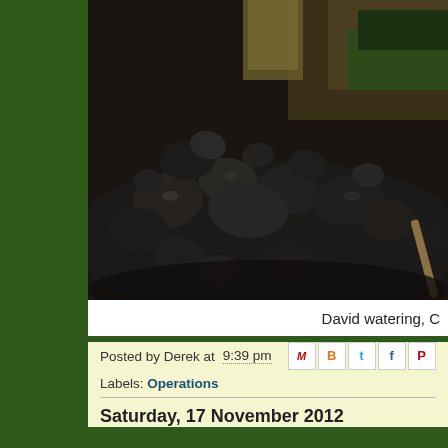[Figure (photo): Close-up photograph of a large pile of black coal chunks in what appears to be a railway locomotive tender or coal bunker. Wooden/stone structure visible in the background, with what appears to be a green painted locomotive. A shovel handle is visible at the right edge.]
David watering, C
Posted by Derek at 9:39 pm
Labels: Operations
Saturday, 17 November 2012